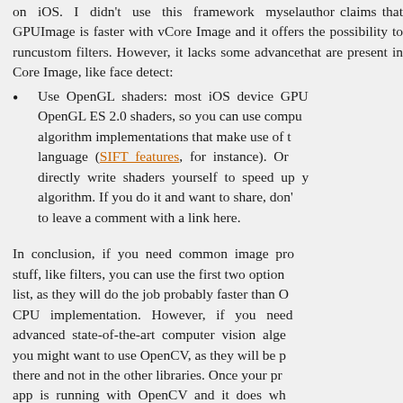on iOS. I didn't use this framework myself, author claims that GPUImage is faster with v Core Image and it offers the possibility to run custom filters. However, it lacks some advance that are present in Core Image, like face detect:
Use OpenGL shaders: most iOS device GPU OpenGL ES 2.0 shaders, so you can use compu algorithm implementations that make use of t language (SIFT features, for instance). Or directly write shaders yourself to speed up y algorithm. If you do it and want to share, don' to leave a comment with a link here.
In conclusion, if you need common image pro stuff, like filters, you can use the first two option list, as they will do the job probably faster than O CPU implementation. However, if you need advanced state-of-the-art computer vision alge you might want to use OpenCV, as they will be p there and not in the other libraries. Once your pr app is running with OpenCV and it does wh expected to, you might like to optimize some s